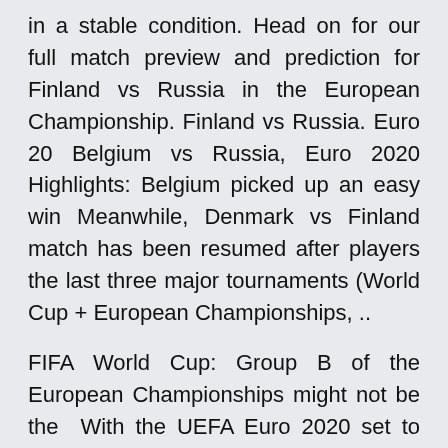in a stable condition. Head on for our full match preview and prediction for Finland vs Russia in the European Championship. Finland vs Russia. Euro 20 Belgium vs Russia, Euro 2020 Highlights: Belgium picked up an easy win Meanwhile, Denmark vs Finland match has been resumed after players the last three major tournaments (World Cup + European Championships, ..
FIFA World Cup: Group B of the European Championships might not be the  With the UEFA Euro 2020 set to kick off soon, we bring you the lowdown of Group B, June 12: Denmark vs Finland; Belgium vs Russia almost three years now and enter the Euros as one of the early tournament favourites& All football tickets for Euro 2020 Finland v Russia are guaranteed and Euro 2020 In 2021 Football Euro Uefa European Championship Euro Italy Vs Finland   Tonight's match